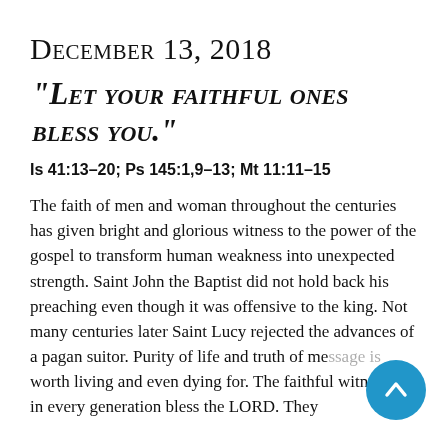December 13, 2018
“Let your faithful ones bless you.”
Is 41:13–20; Ps 145:1,9–13; Mt 11:11–15
The faith of men and woman throughout the centuries has given bright and glorious witness to the power of the gospel to transform human weakness into unexpected strength.  Saint John the Baptist did not hold back his preaching even though it was offensive to the king.   Not many centuries later Saint Lucy rejected the advances of a pagan suitor.  Purity of life and truth of message is worth living and even dying for.  The faithful witnesses in every generation bless the LORD.  They